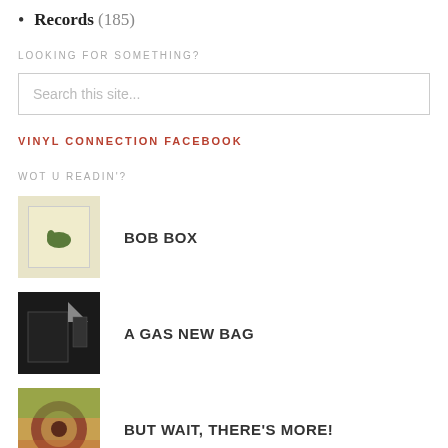Records (185)
LOOKING FOR SOMETHING?
Search this site...
VINYL CONNECTION FACEBOOK
WOT U READIN'?
BOB BOX
A GAS NEW BAG
BUT WAIT, THERE'S MORE!
1972 COUNTDOWN — #25 - 21